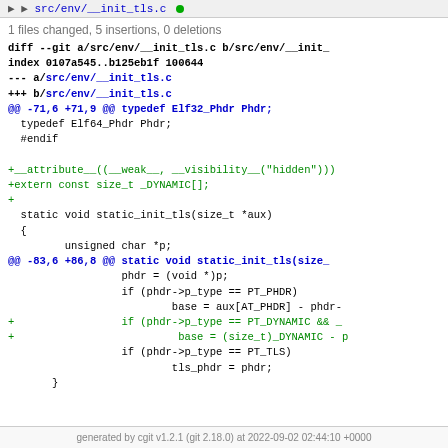src/env/__init_tls.c
1 files changed, 5 insertions, 0 deletions
[Figure (screenshot): Git diff output showing changes to src/env/__init_tls.c, adding __attribute__((__weak__, __visibility__("hidden"))) and extern const size_t _DYNAMIC[], plus additional lines in static_init_tls function regarding PT_DYNAMIC handling]
generated by cgit v1.2.1 (git 2.18.0) at 2022-09-02 02:44:10 +0000